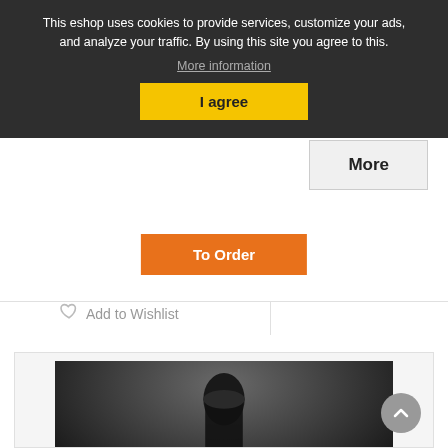This eshop uses cookies to provide services, customize your ads, and analyze your traffic. By using this site you agree to this.
More information
I agree
More
To Order
Add to Wishlist
[Figure (photo): Product photo showing a dark cylindrical object against a dark gradient background]